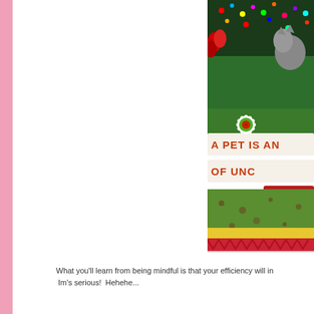[Figure (illustration): A scrapbook-style page partially visible on the right side. Shows a colorful Christmas-themed layout with a photo of a cat near a Christmas tree, a green daisy flower embellishment with a red button center, two banner/ribbon elements with text reading 'A PET IS AN' and 'OF UNC', a red label with letter 'M', and a green textured background with brown spots and yellow/red trim at the bottom.]
What you'll learn from being mindful is that your efficiency will in Im's serious!  Hehehe...